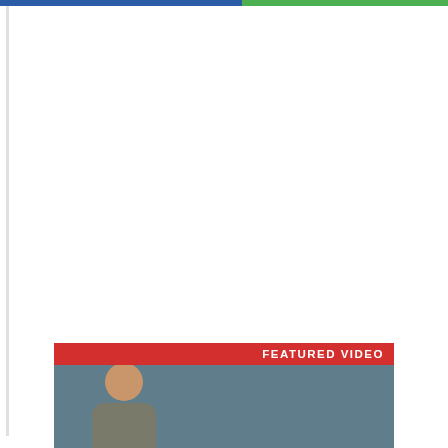[Figure (photo): Featured video thumbnail showing a person, with a red banner labeled FEATURED VIDEO at the top of the thumbnail area]